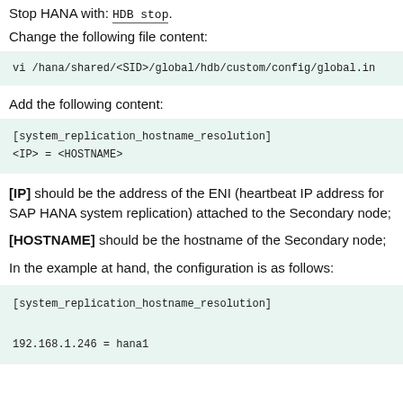Stop HANA with: HDB stop.
Change the following file content:
vi /hana/shared/<SID>/global/hdb/custom/config/global.in
Add the following content:
[system_replication_hostname_resolution]
<IP> = <HOSTNAME>
[IP] should be the address of the ENI (heartbeat IP address for SAP HANA system replication) attached to the Secondary node;
[HOSTNAME] should be the hostname of the Secondary node;
In the example at hand, the configuration is as follows:
[system_replication_hostname_resolution]
192.168.1.246 = hana1